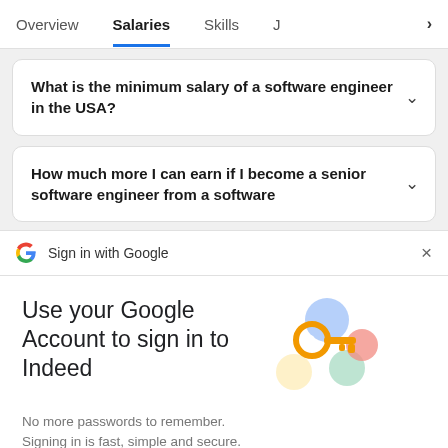Overview | Salaries | Skills | >
What is the minimum salary of a software engineer in the USA?
How much more I can earn if I become a senior software engineer from a software
Sign in with Google
Use your Google Account to sign in to Indeed
No more passwords to remember. Signing in is fast, simple and secure.
Continue